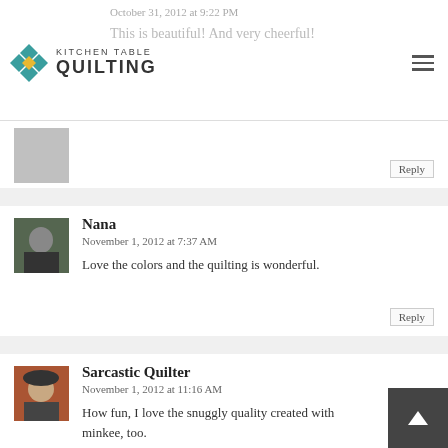Kitchen Table Quilting
October 31, 2012 at 9:22 PM
This is beautiful! And very cheerful!
Reply
Nana
November 1, 2012 at 7:37 AM
Love the colors and the quilting is wonderful.
Reply
Sarcastic Quilter
November 1, 2012 at 11:16 AM
How fun, I love the snuggly quality created with minkee, too.